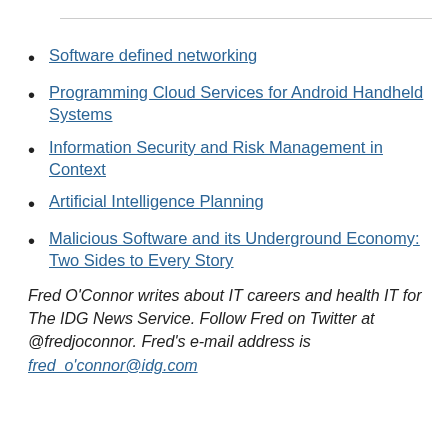Software defined networking
Programming Cloud Services for Android Handheld Systems
Information Security and Risk Management in Context
Artificial Intelligence Planning
Malicious Software and its Underground Economy: Two Sides to Every Story
Fred O'Connor writes about IT careers and health IT for The IDG News Service. Follow Fred on Twitter at @fredjoconnor. Fred's e-mail address is fred_o'connor@idg.com